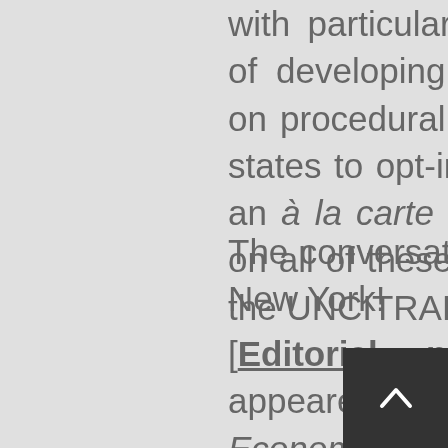with particular focus on the possibility of developing (xiii) an omnibus treaty on procedural reform, with flexibility for states to opt-in to particular reforms on an à la carte basis. Secretariat papers on all of these matters are available on the UNCITRAL website, here.
The conversation continues. Onward to New York!
[Editorial note: This post first appeared on the International Economic Law and Policy Blog.]
[1] For more on the dynamics of the resumed 38th Session, stay tuned for